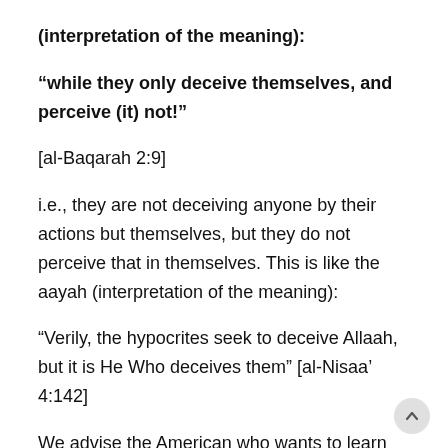(interpretation of the meaning):
“while they only deceive themselves, and perceive (it) not!”
[al-Baqarah 2:9]
i.e., they are not deceiving anyone by their actions but themselves, but they do not perceive that in themselves. This is like the aayah (interpretation of the meaning):
“Verily, the hypocrites seek to deceive Allaah, but it is He Who deceives them” [al-Nisaa’ 4:142]
We advise the American who wants to learn about